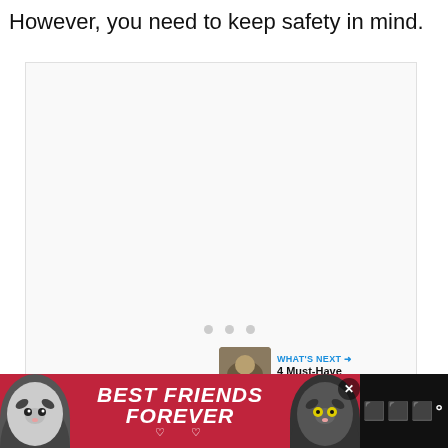However, you need to keep safety in mind.
[Figure (other): Large white/light content area with loading dots in the center]
[Figure (infographic): Like button (heart icon, blue circle), count of 69, and share button]
[Figure (other): What's Next panel with thumbnail and text: 4 Must-Have Items to Kee...]
[Figure (other): Bottom advertisement banner: Best Friends Forever with cat images]